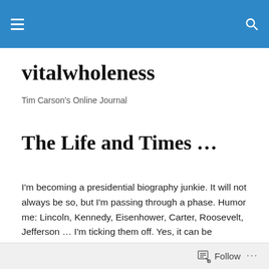vitalwholeness — site header bar with hamburger menu and search icon
vitalwholeness
Tim Carson's Online Journal
The Life and Times …
I'm becoming a presidential biography junkie. It will not always be so, but I'm passing through a phase. Humor me: Lincoln, Kennedy, Eisenhower, Carter, Roosevelt, Jefferson … I'm ticking them off. Yes, it can be addicting. And I can tell you why it is, at least for me.
Follow …